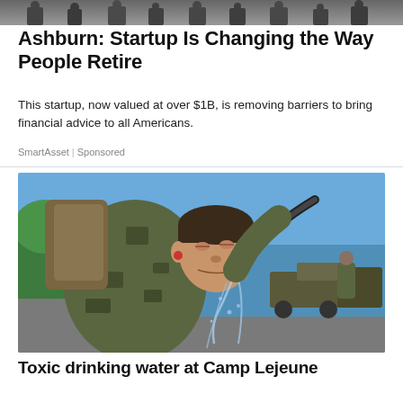[Figure (photo): Group of people standing together, partially visible at top of page (cropped)]
Ashburn: Startup Is Changing the Way People Retire
This startup, now valued at over $1B, is removing barriers to bring financial advice to all Americans.
SmartAsset | Sponsored
[Figure (photo): A soldier in camouflage uniform drinking water from a hose outdoors, with military vehicles visible in the background near water]
Toxic drinking water at Camp Lejeune